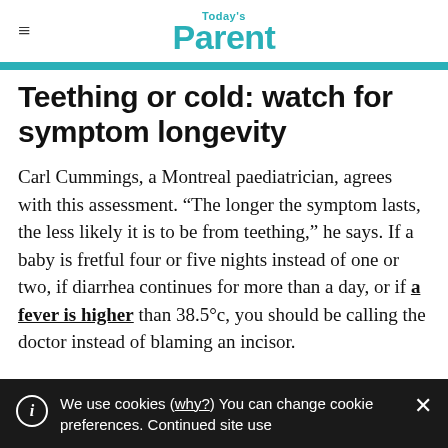Today's Parent
Teething or cold: watch for symptom longevity
Carl Cummings, a Montreal paediatrician, agrees with this assessment. “The longer the symptom lasts, the less likely it is to be from teething,” he says. If a baby is fretful four or five nights instead of one or two, if diarrhea continues for more than a day, or if a fever is higher than 38.5°c, you should be calling the doctor instead of blaming an incisor.
We use cookies (why?) You can change cookie preferences. Continued site use